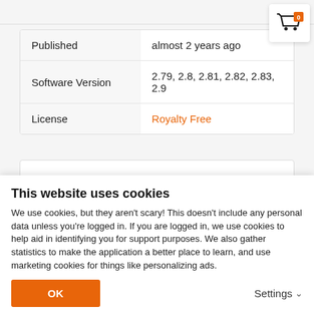|  |  |
| --- | --- |
| Published | almost 2 years ago |
| Software Version | 2.79, 2.8, 2.81, 2.82, 2.83, 2.9 |
| License | Royalty Free |
[Figure (illustration): Life preserver / lifebuoy icon, red/white colors, circular ring shape]
This website uses cookies
We use cookies, but they aren't scary! This doesn't include any personal data unless you're logged in. If you are logged in, we use cookies to help aid in identifying you for support purposes. We also gather statistics to make the application a better place to learn, and use marketing cookies for things like personalizing ads.